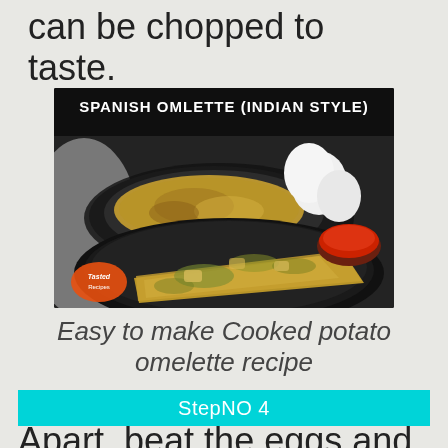can be chopped to taste.
[Figure (photo): Spanish omelette (Indian style) video thumbnail showing two omelette servings on dark plates with eggs and ketchup in background, with 'SPANISH OMLETTE (INDIAN STYLE)' text overlay and Tasted Recipes logo]
Easy to make Cooked potato omelette recipe
StepNO 4
Apart, beat the eggs and pour